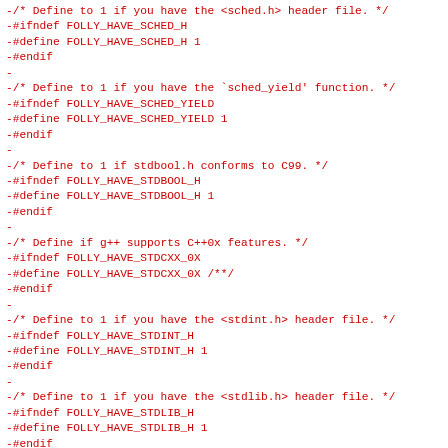-/* Define to 1 if you have the <sched.h> header file. */
-#ifndef FOLLY_HAVE_SCHED_H
-#define FOLLY_HAVE_SCHED_H 1
-#endif
-
-/* Define to 1 if you have the `sched_yield' function. */
-#ifndef FOLLY_HAVE_SCHED_YIELD
-#define FOLLY_HAVE_SCHED_YIELD 1
-#endif
-
-/* Define to 1 if stdbool.h conforms to C99. */
-#ifndef FOLLY_HAVE_STDBOOL_H
-#define FOLLY_HAVE_STDBOOL_H 1
-#endif
-
-/* Define if g++ supports C++0x features. */
-#ifndef FOLLY_HAVE_STDCXX_0X
-#define FOLLY_HAVE_STDCXX_0X /**/
-#endif
-
-/* Define to 1 if you have the <stdint.h> header file. */
-#ifndef FOLLY_HAVE_STDINT_H
-#define FOLLY_HAVE_STDINT_H 1
-#endif
-
-/* Define to 1 if you have the <stdlib.h> header file. */
-#ifndef FOLLY_HAVE_STDLIB_H
-#define FOLLY_HAVE_STDLIB_H 1
-#endif
-
-/* Define to 1 if you have the `strerror' function. */
-#ifndef FOLLY_HAVE_STRERROR
-#define FOLLY_HAVE_STRERROR 1